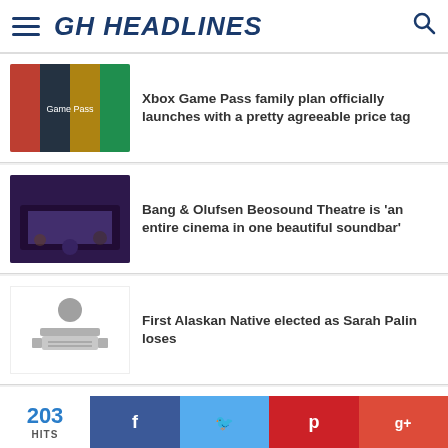GH HEADLINES
Xbox Game Pass family plan officially launches with a pretty agreeable price tag
Bang & Olufsen Beosound Theatre is 'an entire cinema in one beautiful soundbar'
First Alaskan Native elected as Sarah Palin loses
Palestinian prisoners set for mass hunger strike
203 HITS | Facebook | Twitter | Pinterest | Google+